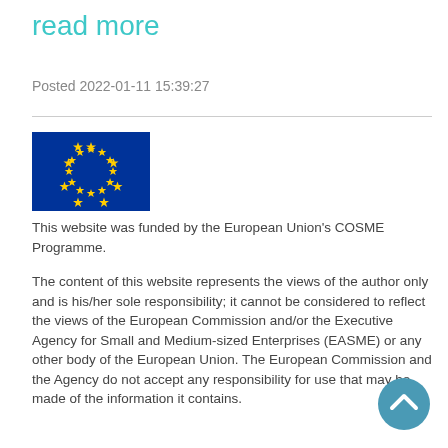read more
Posted 2022-01-11 15:39:27
[Figure (logo): European Union flag — blue background with 12 yellow stars in a circle]
This website was funded by the European Union's COSME Programme.
The content of this website represents the views of the author only and is his/her sole responsibility; it cannot be considered to reflect the views of the European Commission and/or the Executive Agency for Small and Medium-sized Enterprises (EASME) or any other body of the European Union. The European Commission and the Agency do not accept any responsibility for use that may be made of the information it contains.